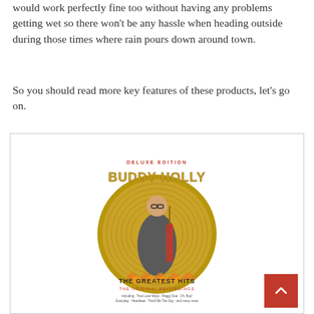would work perfectly fine too without having any problems getting wet so there won't be any hassle when heading outside during those times where rain pours down around town.
So you should read more key features of these products, let's go on.
[Figure (photo): Album cover of Buddy Holly Deluxe Edition - The Greatest Hits: The Original Recordings, featuring an image of Buddy Holly playing guitar in front of a large gold record, with text listing included songs: True Love Ways, Peggy Sue, Oh, Boy!, Everyday, Heartbeat, That'll Be The Day, and many more.]